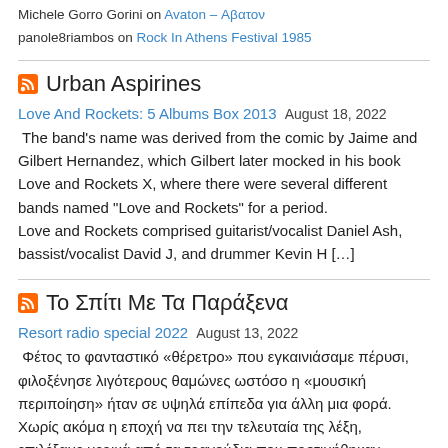Michele Gorro Gorini on Avaton – Αβατον
panole8riambos on Rock In Athens Festival 1985
Urban Aspirines
Love And Rockets: 5 Albums Box 2013   August 18, 2022
The band's name was derived from the comic by Jaime and Gilbert Hernandez, which Gilbert later mocked in his book Love and Rockets X, where there were several different bands named "Love and Rockets" for a period.                    Love and Rockets comprised guitarist/vocalist Daniel Ash, bassist/vocalist David J, and drummer Kevin H […]
Το Σπίτι Με Τα Παράξενα
Resort radio special 2022   August 13, 2022
Φέτος το φανταστικό «θέρετρο» που εγκαινιάσαμε πέρυσι, φιλοξένησε λιγότερους θαμώνες ωστόσο η «μουσική περιποίηση» ήταν σε υψηλά επίπεδα για άλλη μια φορά. Χωρίς ακόμα η εποχή να πει την τελευταία της λέξη, επιλέξαμε μερικά από τα τραγούδια που προτιμήθηκαν αρκετά